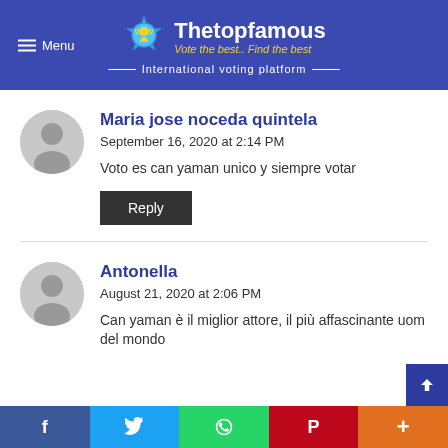Menu | Thetopfamous Vote the best.. Find the best | International voting platform
Maria jose noceda quintela
September 16, 2020 at 2:14 PM
Voto es can yaman unico y siempre votar
Reply
Antonella
August 21, 2020 at 2:06 PM
Can yaman è il miglior attore, il più affascinante uom del mondo